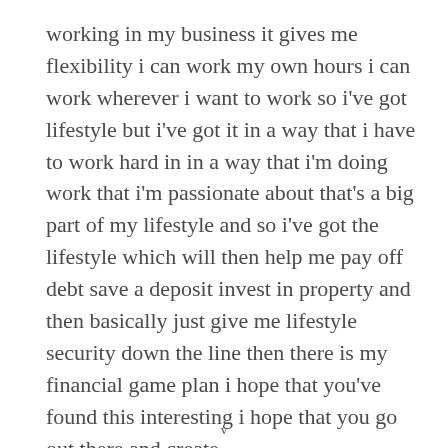working in my business it gives me flexibility i can work my own hours i can work wherever i want to work so i've got lifestyle but i've got it in a way that i have to work hard in in a way that i'm doing work that i'm passionate about that's a big part of my lifestyle and so i've got the lifestyle which will then help me pay off debt save a deposit invest in property and then basically just give me lifestyle security down the line then there is my financial game plan i hope that you've found this interesting i hope that you go out there and create
v